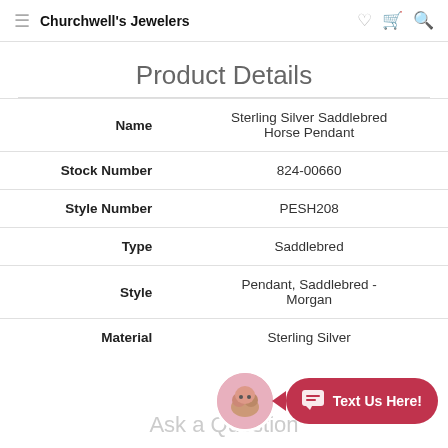Churchwell's Jewelers
Product Details
| Field | Value |
| --- | --- |
| Name | Sterling Silver Saddlebred Horse Pendant |
| Stock Number | 824-00660 |
| Style Number | PESH208 |
| Type | Saddlebred |
| Style | Pendant, Saddlebred - Morgan |
| Material | Sterling Silver |
Ask a Question